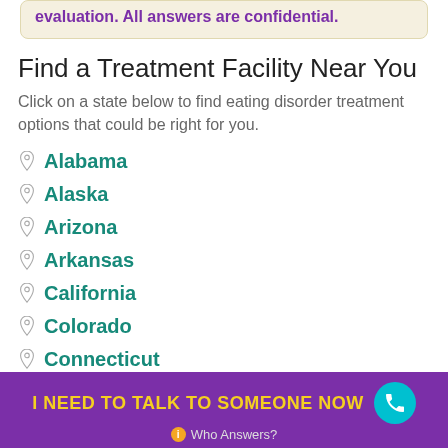evaluation. All answers are confidential.
Find a Treatment Facility Near You
Click on a state below to find eating disorder treatment options that could be right for you.
Alabama
Alaska
Arizona
Arkansas
California
Colorado
Connecticut
I NEED TO TALK TO SOMEONE NOW   Who Answers?